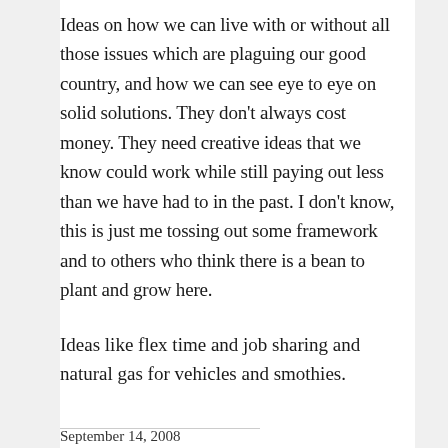Ideas on how we can live with or without all those issues which are plaguing our good country, and how we can see eye to eye on solid solutions. They don't always cost money. They need creative ideas that we know could work while still paying out less than we have had to in the past. I don't know, this is just me tossing out some framework and to others who think there is a bean to plant and grow here.
Ideas like flex time and job sharing and natural gas for vehicles and smothies.
September 14, 2008
john george said: